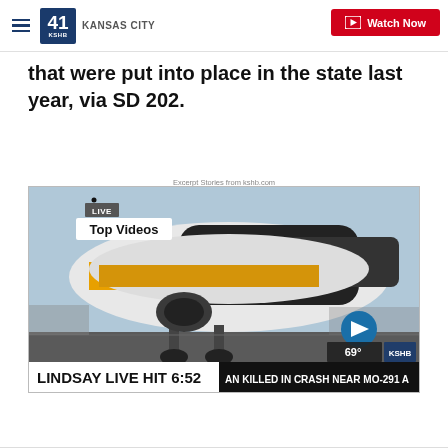41 KSHB KANSAS CITY — Watch Now
that were put into place in the state last year, via SD 202.
Excerpt Stories from kshb.com
[Figure (screenshot): KSHB news video thumbnail showing an airplane on the ground with LIVE badge, 'Top Videos' label, ticker bar reading 'LINDSAY LIVE HIT 6:52', weather showing 69°, and a right-arrow navigation button]